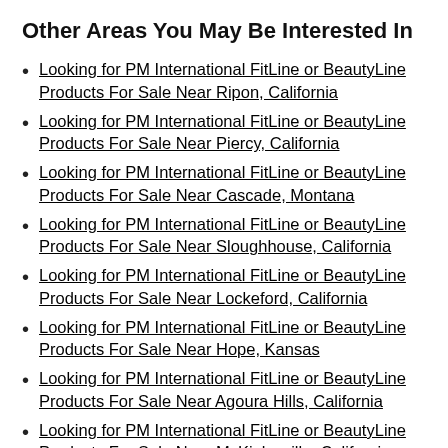Other Areas You May Be Interested In
Looking for PM International FitLine or BeautyLine Products For Sale Near Ripon, California
Looking for PM International FitLine or BeautyLine Products For Sale Near Piercy, California
Looking for PM International FitLine or BeautyLine Products For Sale Near Cascade, Montana
Looking for PM International FitLine or BeautyLine Products For Sale Near Sloughhouse, California
Looking for PM International FitLine or BeautyLine Products For Sale Near Lockeford, California
Looking for PM International FitLine or BeautyLine Products For Sale Near Hope, Kansas
Looking for PM International FitLine or BeautyLine Products For Sale Near Agoura Hills, California
Looking for PM International FitLine or BeautyLine Products For Sale Near McKinleyville, California
Looking for PM International FitLine or BeautyLine